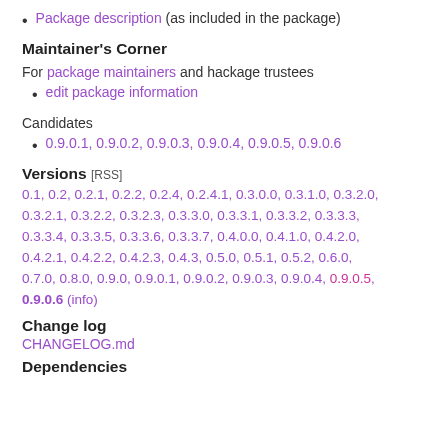Package description (as included in the package)
Maintainer's Corner
For package maintainers and hackage trustees
edit package information
Candidates
0.9.0.1, 0.9.0.2, 0.9.0.3, 0.9.0.4, 0.9.0.5, 0.9.0.6
Versions [RSS]
0.1, 0.2, 0.2.1, 0.2.2, 0.2.4, 0.2.4.1, 0.3.0.0, 0.3.1.0, 0.3.2.0, 0.3.2.1, 0.3.2.2, 0.3.2.3, 0.3.3.0, 0.3.3.1, 0.3.3.2, 0.3.3.3, 0.3.3.4, 0.3.3.5, 0.3.3.6, 0.3.3.7, 0.4.0.0, 0.4.1.0, 0.4.2.0, 0.4.2.1, 0.4.2.2, 0.4.2.3, 0.4.3, 0.5.0, 0.5.1, 0.5.2, 0.6.0, 0.7.0, 0.8.0, 0.9.0, 0.9.0.1, 0.9.0.2, 0.9.0.3, 0.9.0.4, 0.9.0.5, 0.9.0.6 (info)
Change log
CHANGELOG.md
Dependencies